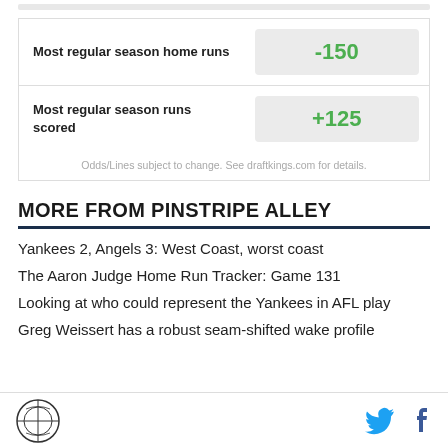| Bet | Odds |
| --- | --- |
| Most regular season home runs | -150 |
| Most regular season runs scored | +125 |
Odds/Lines subject to change. See draftkings.com for details.
MORE FROM PINSTRIPE ALLEY
Yankees 2, Angels 3: West Coast, worst coast
The Aaron Judge Home Run Tracker: Game 131
Looking at who could represent the Yankees in AFL play
Greg Weissert has a robust seam-shifted wake profile
Pinstripe Alley logo, Twitter and Facebook icons